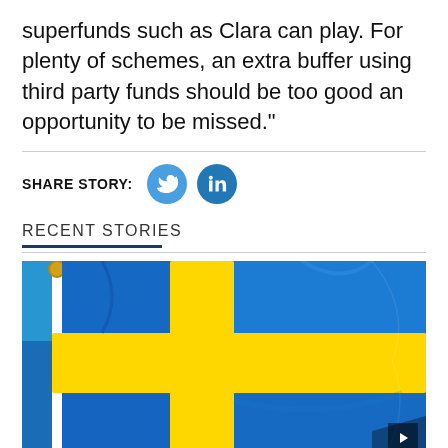superfunds such as Clara can play. For plenty of schemes, an extra buffer using third party funds should be too good an opportunity to be missed."
SHARE STORY:
RECENT STORIES
[Figure (photo): Swedish flag waving against a clear blue sky, mounted on a white flagpole with a golden finial.]